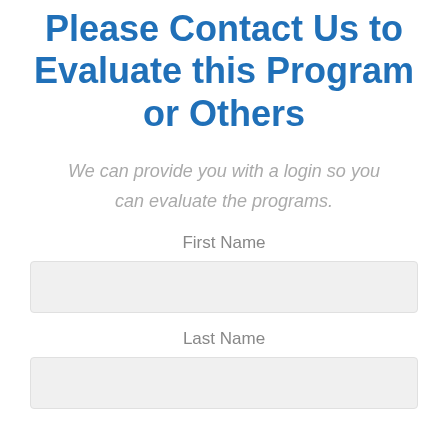Please Contact Us to Evaluate this Program or Others
We can provide you with a login so you can evaluate the programs.
First Name
Last Name